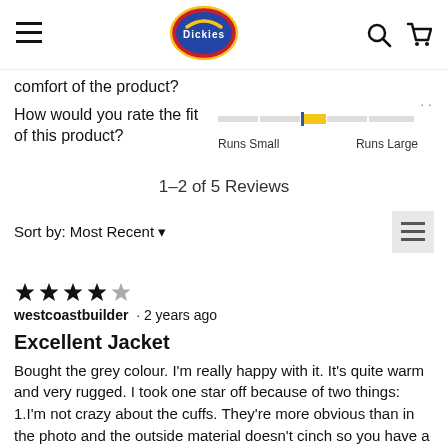Dickies navigation header with hamburger menu, Dickies logo, search and cart icons
comfort of the product?
How would you rate the fit of this product?
[Figure (other): Horizontal slider bar showing fit rating between Runs Small and Runs Large, with yellow indicator marker slightly right of center]
Runs Small   Runs Large
1–2 of 5 Reviews
Sort by: Most Recent ▼
[Figure (other): Filter/sort icon button (three horizontal lines) on grey background]
[Figure (other): 4 out of 5 stars rating]
westcoastbuilder · 2 years ago
Excellent Jacket
Bought the grey colour. I'm really happy with it. It's quite warm and very rugged. I took one star off because of two things: 1.I'm not crazy about the cuffs. They're more obvious than in the photo and the outside material doesn't cinch so you have a bunch of heavy material loose around